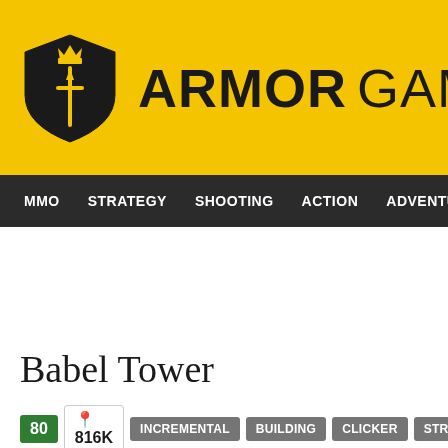[Figure (logo): Armor Games logo: yellow background header with black shield/crown icon and bold text 'ARMOR GAMES']
MMO  STRATEGY  SHOOTING  ACTION  ADVENTURE  P
Babel Tower
80  816K  INCREMENTAL  BUILDING  CLICKER  STRATEGY  IDLE